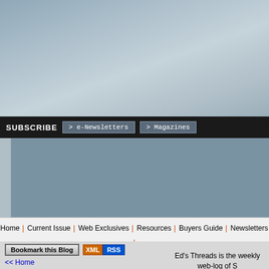[Figure (screenshot): Cloudy blue-grey background at top of webpage]
SUBSCRIBE  > e-Newsletters  > Magazines
[Figure (other): Advertisement placeholder area with 'v advertisement v' label]
Home | Current Issue | Web Exclusives | Resources | Buyers Guide | Newsletters | Blogs | Contact Us | Events | Advertise | Links | Jobs
[Figure (other): Bookmark this Blog button and XML RSS button]
<< Home
060915: HDD Mid-life Crisis; Can't Afford a Flashy Sports Car
Ed's Threads 060915
Musings by Ed Korczynski on 15 September 2006
Middle-life Crisis for the HDD; Can't Afford a Flashy Sports Car
September 13, 2006 was the 50th
Ed's Threads is the weekly web-log of S... Technical Editor Ed Korczynski's musings on the topics of semiconductor manufacturing technology and business. Ed received a degree in materials science and engineering from MIT in 1984, and after process development and integration work in fab, held applications, marketing, and business development roles at OEMs. Ed won editorial awards from ASBPE, including interviews with Gordon Moore and Jim Morgan, and is lacking for opinions.